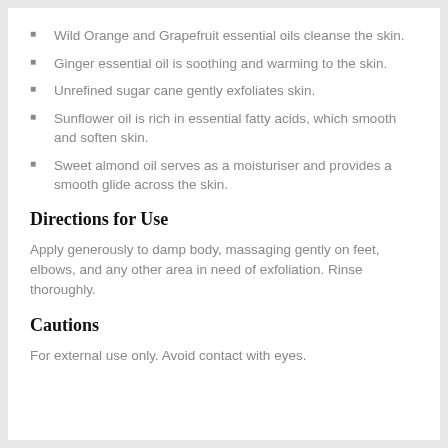Wild Orange and Grapefruit essential oils cleanse the skin.
Ginger essential oil is soothing and warming to the skin.
Unrefined sugar cane gently exfoliates skin.
Sunflower oil is rich in essential fatty acids, which smooth and soften skin.
Sweet almond oil serves as a moisturiser and provides a smooth glide across the skin.
Directions for Use
Apply generously to damp body, massaging gently on feet, elbows, and any other area in need of exfoliation. Rinse thoroughly.
Cautions
For external use only. Avoid contact with eyes.